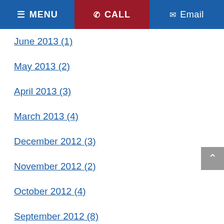MENU  CALL  Email
June 2013 (1)
May 2013 (2)
April 2013 (3)
March 2013 (4)
December 2012 (3)
November 2012 (2)
October 2012 (4)
September 2012 (8)
August 2012 (11)
July 2012 (9)
June 2012 (8)